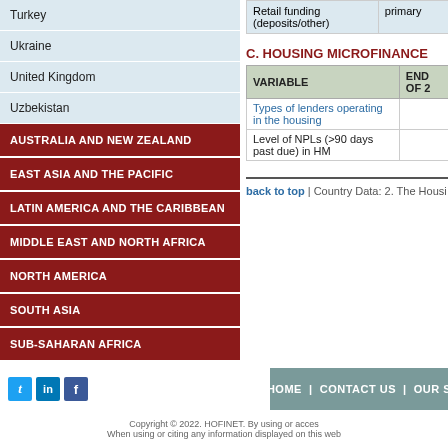Turkey
Ukraine
United Kingdom
Uzbekistan
AUSTRALIA AND NEW ZEALAND
EAST ASIA AND THE PACIFIC
LATIN AMERICA AND THE CARIBBEAN
MIDDLE EAST AND NORTH AFRICA
NORTH AMERICA
SOUTH ASIA
SUB-SAHARAN AFRICA
| Retail funding (deposits/other) | primary |
| --- | --- |
C. HOUSING MICROFINANCE
| VARIABLE | END OF 2... |
| --- | --- |
| Types of lenders operating in the housing... |  |
| Level of NPLs (>90 days past due) in HM... |  |
back to top | Country Data: 2. The Hous...
HOME | CONTACT US | OUR S...
Copyright © 2022. HOFINET. By using or access... When using or citing any information displayed on this web...